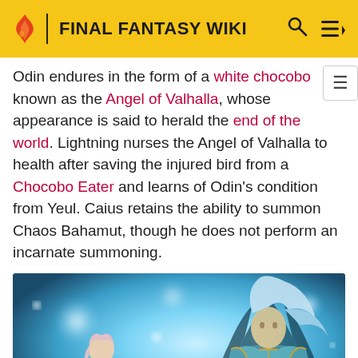FINAL FANTASY WIKI
Odin endures in the form of a white chocobo known as the Angel of Valhalla, whose appearance is said to herald the end of the world. Lightning nurses the Angel of Valhalla to health after saving the injured bird from a Chocobo Eater and learns of Odin's condition from Yeul. Caius retains the ability to summon Chaos Bahamut, though he does not perform an incarnate summoning.
[Figure (photo): Game scene showing a character (Lightning) in the foreground and a large armored figure (Caius or Bahamut) in the background, with bright blue/white bokeh light effects]